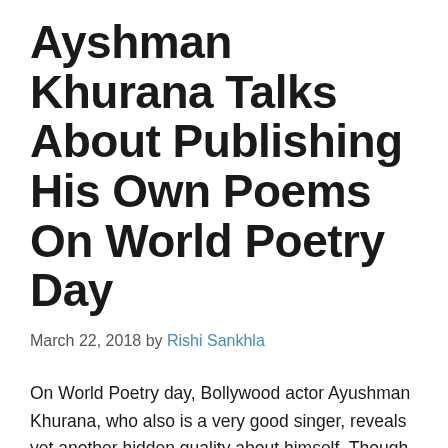Ayshman Khurana Talks About Publishing His Own Poems On World Poetry Day
March 22, 2018 by Rishi Sankhla
On World Poetry day, Bollywood actor Ayushman Khurana, who also is a very good singer, reveals yet another hidden quality about himself. Though the quality was not much of a surprise, as his tweets say a lot about the actor and his interests. On 21...